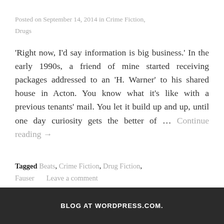Posted on September 14, 2014 in Crime Fiction, Drugs
'Right now, I'd say information is big business.' In the early 1990s, a friend of mine started receiving packages addressed to an 'H. Warner' to his shared house in Acton. You know what it's like with a previous tenants' mail. You let it build up and up, until one day curiosity gets the better of … Continue reading →
Tagged Beats, Crime Fiction, Drug Fiction, Fauser    Leave a comment
BLOG AT WORDPRESS.COM.